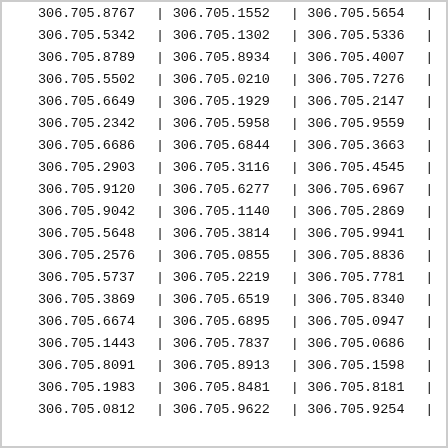| col1 | col2 | col3 |
| --- | --- | --- |
| 306.705.8767 | 306.705.1552 | 306.705.5654 |
| 306.705.5342 | 306.705.1302 | 306.705.5336 |
| 306.705.8789 | 306.705.8934 | 306.705.4007 |
| 306.705.5502 | 306.705.0210 | 306.705.7276 |
| 306.705.6649 | 306.705.1929 | 306.705.2147 |
| 306.705.2342 | 306.705.5958 | 306.705.9559 |
| 306.705.6686 | 306.705.6844 | 306.705.3663 |
| 306.705.2903 | 306.705.3116 | 306.705.4545 |
| 306.705.9120 | 306.705.6277 | 306.705.6967 |
| 306.705.9042 | 306.705.1140 | 306.705.2869 |
| 306.705.5648 | 306.705.3814 | 306.705.9941 |
| 306.705.2576 | 306.705.0855 | 306.705.8836 |
| 306.705.5737 | 306.705.2219 | 306.705.7781 |
| 306.705.3869 | 306.705.6519 | 306.705.8340 |
| 306.705.6674 | 306.705.6895 | 306.705.0947 |
| 306.705.1443 | 306.705.7837 | 306.705.0686 |
| 306.705.8091 | 306.705.8913 | 306.705.1598 |
| 306.705.1983 | 306.705.8481 | 306.705.8181 |
| 306.705.0812 | 306.705.9622 | 306.705.9254 |